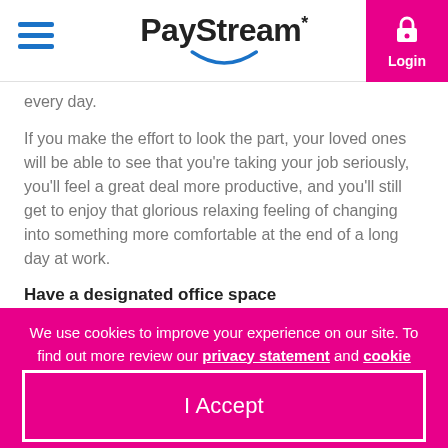PayStream* Login
every day.
If you make the effort to look the part, your loved ones will be able to see that you're taking your job seriously, you'll feel a great deal more productive, and you'll still get to enjoy that glorious relaxing feeling of changing into something more comfortable at the end of a long day at work.
Have a designated office space
We use cookies to improve your experience on our site. To find out more review our privacy statement and cookie policy.
I Accept